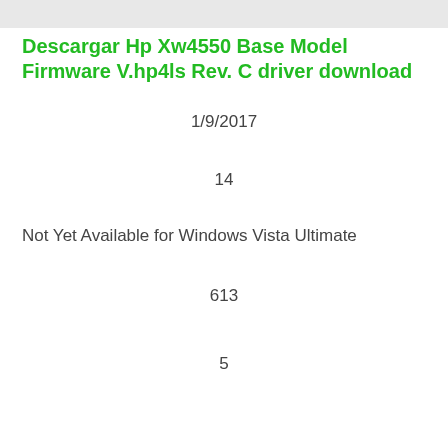[Figure (other): Light gray banner/header bar at the top of the page]
Descargar Hp Xw4550 Base Model Firmware V.hp4ls Rev. C driver download
1/9/2017
14
Not Yet Available for Windows Vista Ultimate
613
5